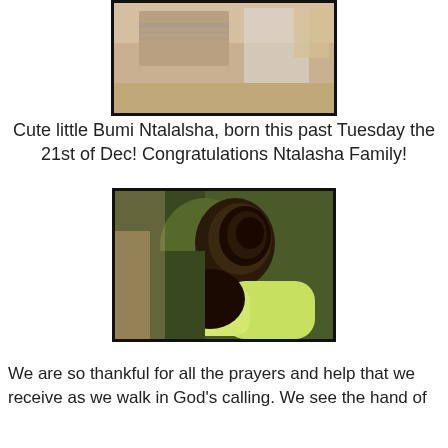[Figure (photo): Partial photo at top of page showing a person at a table with a keyboard and papers]
Cute little Bumi Ntalalsha, born this past Tuesday the 21st of Dec! Congratulations Ntalasha Family!
[Figure (photo): Photo of newborn baby Bumi Ntalalsha wrapped in a yellow blanket, sleeping]
We are so thankful for all the prayers and help that we receive as we walk in God’s calling. We see the hand of